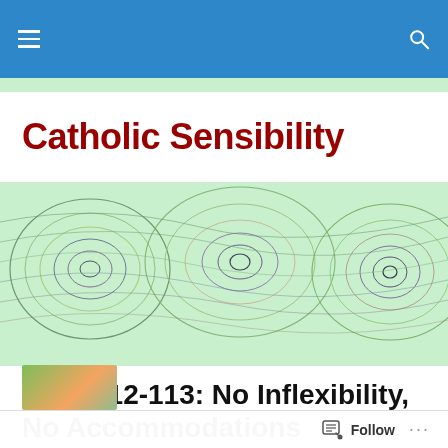Catholic Sensibility — navigation bar with hamburger menu and search icon
Catholic Sensibility
[Figure (illustration): Abstract colorful wave interference pattern banner image on light green background]
GDC 112-113: No Inflexibility, No Accommodations
Posted by catholicsensibility
Follow ...